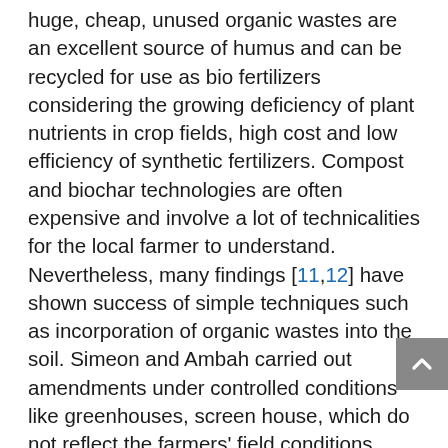huge, cheap, unused organic wastes are an excellent source of humus and can be recycled for use as bio fertilizers considering the growing deficiency of plant nutrients in crop fields, high cost and low efficiency of synthetic fertilizers. Compost and biochar technologies are often expensive and involve a lot of technicalities for the local farmer to understand. Nevertheless, many findings [11,12] have shown success of simple techniques such as incorporation of organic wastes into the soil. Simeon and Ambah carried out amendments under controlled conditions like greenhouses, screen house, which do not reflect the farmers' field conditions, hence, farmers' adoptions of such research results are often limited [13]. Although several studies have been carried out on the use of cocoa pod husk, ash, biochar, compost as a fertilizer and or as soil amendment for the cultivation of some crops in Nigeria, Ghana and other parts of the world, there is little or no information on the use of cocoa husk and plantain peels powder in the